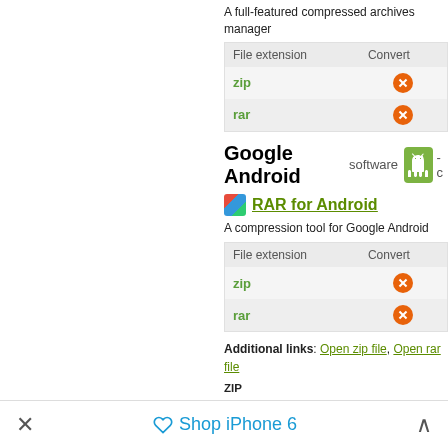A full-featured compressed archives manager
| File extension | Convert |
| --- | --- |
| zip | ✗ |
| rar | ✗ |
Google Android software
RAR for Android
A compression tool for Google Android
| File extension | Convert |
| --- | --- |
| zip | ✗ |
| rar | ✗ |
Additional links: Open zip file, Open rar file
ZIP Files with zip is associated with the WinZip file is compressed archive container that com compressed in ZIP compression format. Com
× Shop iPhone 6 ^